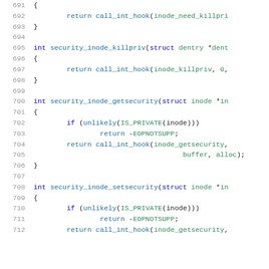[Figure (screenshot): Source code listing showing C functions security_inode_killpriv, security_inode_getsecurity, and security_inode_setsecurity with line numbers 691-712]